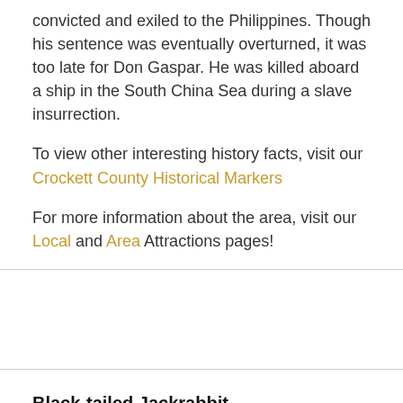convicted and exiled to the Philippines. Though his sentence was eventually overturned, it was too late for Don Gaspar. He was killed aboard a ship in the South China Sea during a slave insurrection.
To view other interesting history facts, visit our Crockett County Historical Markers
For more information about the area, visit our Local and Area Attractions pages!
Black-tailed Jackrabbit
[Figure (photo): A dirt road lined with green shrubs and trees, with a hazy blue sky and distant hills in the background.]